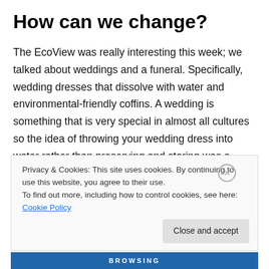How can we change?
The EcoView was really interesting this week; we talked about weddings and a funeral. Specifically, wedding dresses that dissolve with water and environmental-friendly coffins. A wedding is something that is very special in almost all cultures so the idea of throwing your wedding dress into water rather than preserving and storing was a really novel idea to me. I had never thought about something like that but if we want to make a difference in
Privacy & Cookies: This site uses cookies. By continuing to use this website, you agree to their use.
To find out more, including how to control cookies, see here: Cookie Policy
Close and accept